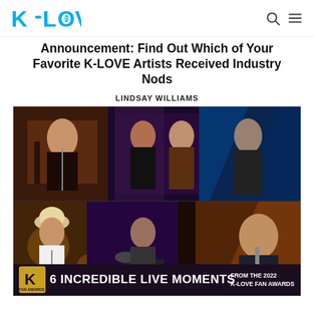K-LOVE
Announcement: Find Out Which of Your Favorite K-LOVE Artists Received Industry Nods
LINDSAY WILLIAMS
[Figure (photo): Collage of six artists performing live on stage at the 2022 K-LOVE Fan Awards, with a promotional banner reading '6 INCREDIBLE LIVE MOMENTS FROM THE 2022 K-LOVE FAN AWARDS']